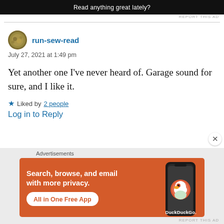[Figure (screenshot): Top ad banner with dark background and text 'Read anything great lately?']
REPORT THIS AD
run-sew-read
July 27, 2021 at 1:49 pm
Yet another one I've never heard of. Garage sound for sure, and I like it.
Liked by 2 people
Log in to Reply
Advertisements
[Figure (screenshot): DuckDuckGo advertisement banner: 'Search, browse, and email with more privacy. All in One Free App' with phone graphic and DuckDuckGo logo]
REPORT THIS AD